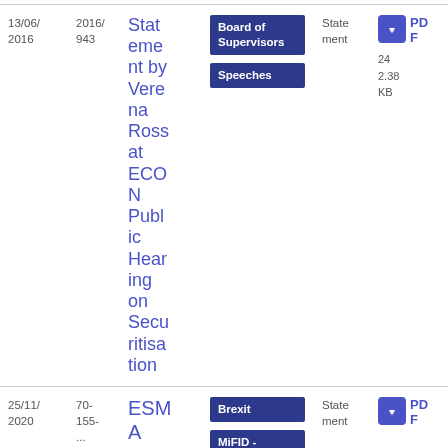| Date | Reference | Title | Tags | Type | Download |
| --- | --- | --- | --- | --- | --- |
| 13/06/2016 | 2016/943 | Statement by Verena Ross at ECON Public Hearing on Securitisation | Board of Supervisors; Speeches | Statement | PDF 24 2.38 KB |
| 25/11/2020 | 70-155-... | ESMA A... | Brexit; MiFID - | Statement | PDF |